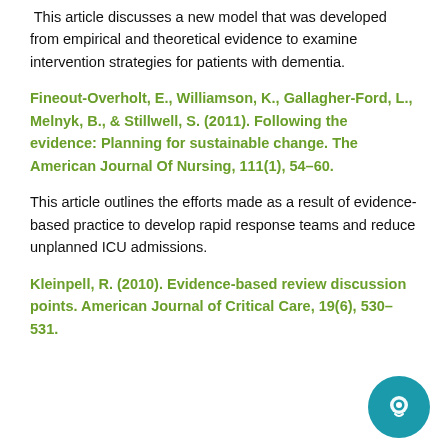This article discusses a new model that was developed from empirical and theoretical evidence to examine intervention strategies for patients with dementia.
Fineout-Overholt, E., Williamson, K., Gallagher-Ford, L., Melnyk, B., & Stillwell, S. (2011). Following the evidence: Planning for sustainable change. The American Journal Of Nursing, 111(1), 54–60.
This article outlines the efforts made as a result of evidence-based practice to develop rapid response teams and reduce unplanned ICU admissions.
Kleinpell, R. (2010). Evidence-based review discussion points. American Journal of Critical Care, 19(6), 530–531.